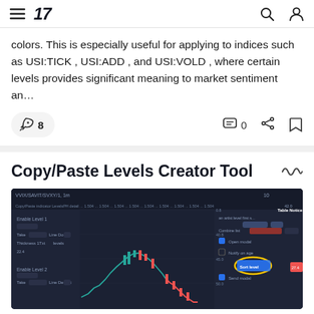TradingView navigation bar
colors. This is especially useful for applying to indices such as USI:TICK , USI:ADD , and USI:VOLD , where certain levels provides significant meaning to market sentiment an...
8 boost | 0 comments
Copy/Paste Levels Creator Tool
[Figure (screenshot): Screenshot of a TradingView chart showing a dark-themed trading interface with a candlestick chart, settings panel on the left, and options panel on the right with a yellow circled element highlighted.]